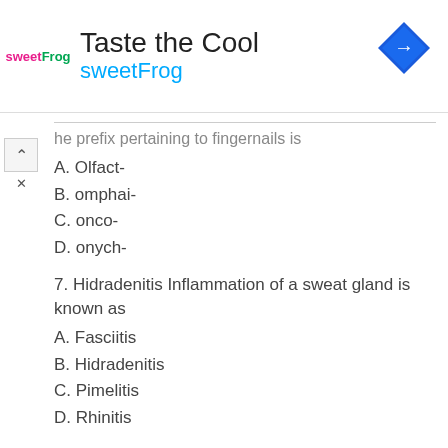[Figure (other): sweetFrog advertisement banner with logo, 'Taste the Cool' headline, 'sweetFrog' subtitle in blue, and a navigation/direction icon on the right]
The prefix pertaining to fingernails is
A. Olfact-
B. omphai-
C. onco-
D. onych-
7. Hidradenitis Inflammation of a sweat gland is known as
A. Fasciitis
B. Hidradenitis
C. Pimelitis
D. Rhinitis
8. The patient's complaint of painful menstrual periods will be documented in the medical record as